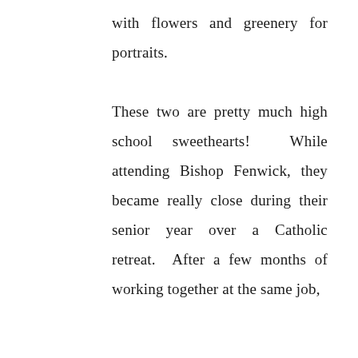with flowers and greenery for portraits.

These two are pretty much high school sweethearts!  While attending Bishop Fenwick, they became really close during their senior year over a Catholic retreat.  After a few months of working together at the same job,